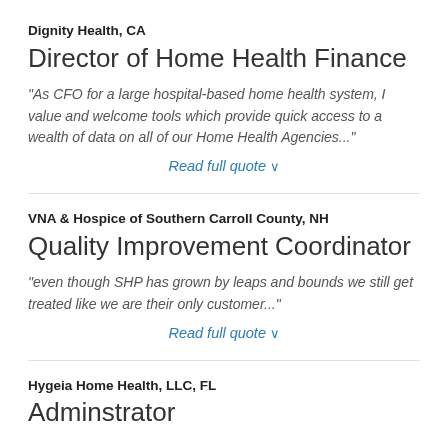Dignity Health, CA
Director of Home Health Finance
"As CFO for a large hospital-based home health system, I value and welcome tools which provide quick access to a wealth of data on all of our Home Health Agencies..."
Read full quote
VNA & Hospice of Southern Carroll County, NH
Quality Improvement Coordinator
"even though SHP has grown by leaps and bounds we still get treated like we are their only customer..."
Read full quote
Hygeia Home Health, LLC, FL
Adminstrator